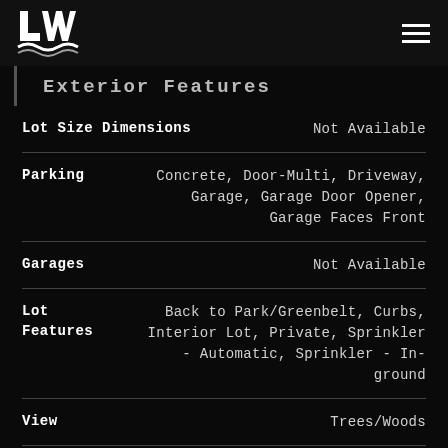LW logo and hamburger menu
Exterior Features
| Feature | Value |
| --- | --- |
| Lot Size Dimensions | Not Available |
| Parking | Concrete, Door-Multi, Driveway, Garage, Garage Door Opener, Garage Faces Front |
| Garages | Not Available |
| Lot Features | Back to Park/Greenbelt, Curbs, Interior Lot, Private, Sprinkler - Automatic, Sprinkler - In-ground |
| View | Trees/Woods |
| Lot Size Area | 0.152 |